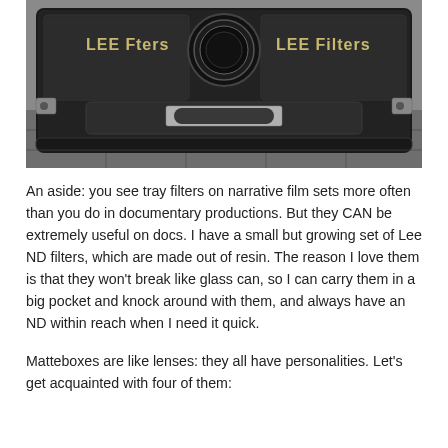[Figure (photo): A hard-shell protective case containing LEE Filters filter trays and a circular filter ring. The case is black with gold 'LEE Filters' lettering visible on two sections. A name plate reads 'McCOMB' on the case's handle area.]
An aside: you see tray filters on narrative film sets more often than you do in documentary productions. But they CAN be extremely useful on docs. I have a small but growing set of Lee ND filters, which are made out of resin. The reason I love them is that they won't break like glass can, so I can carry them in a big pocket and knock around with them, and always have an ND within reach when I need it quick.
Matteboxes are like lenses: they all have personalities. Let's get acquainted with four of them: